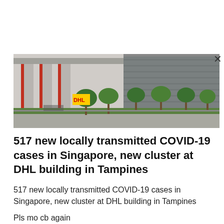[Figure (photo): Photo of a large industrial or logistics building (DHL building in Tampines, Singapore) with concrete columns, red accents, trees in foreground, and a grey multi-storey building in the background.]
517 new locally transmitted COVID-19 cases in Singapore, new cluster at DHL building in Tampines
517 new locally transmitted COVID-19 cases in Singapore, new cluster at DHL building in Tampines
Pls mo cb again
In today's report, the phrase 'There is continuing evidence that almost all fully-vaccinated individuals do not suffer serious disease' has been deleted. Today,